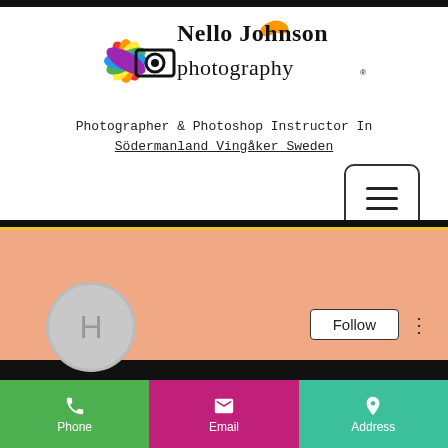[Figure (logo): Nello Johnson Photography logo with colorful flower/camera icon and stylized text]
Photographer & Photoshop Instructor In Södermanland Vingåker Sweden
[Figure (screenshot): Mobile contact card UI showing avatar with letter H, Follow button, three-dot menu, and action buttons for Phone, Email, Address]